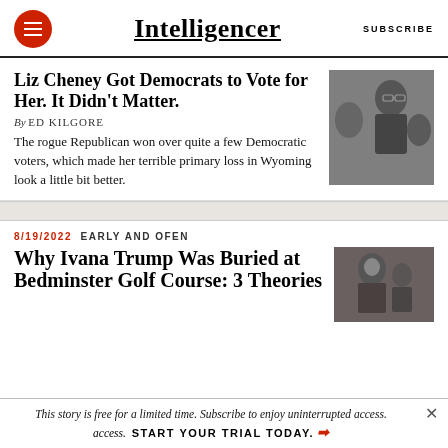Intelligencer | SUBSCRIBE
Liz Cheney Got Democrats to Vote for Her. It Didn't Matter.
By ED KILGORE
The rogue Republican won over quite a few Democratic voters, which made her terrible primary loss in Wyoming look a little bit better.
[Figure (photo): Photo of Liz Cheney]
8/19/2022 EARLY AND OFEN
Why Ivana Trump Was Buried at Bedminster Golf Course: 3 Theories
[Figure (photo): Photo related to Ivana Trump / Bedminster story]
This story is free for a limited time. Subscribe to enjoy uninterrupted access. START YOUR TRIAL TODAY.